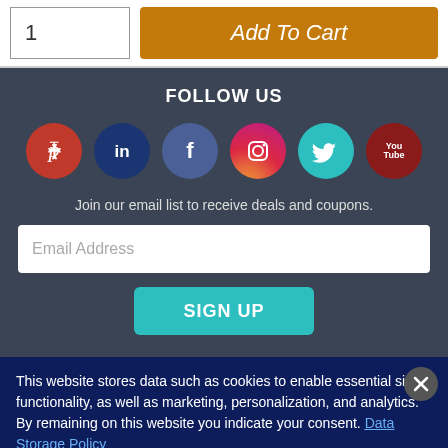[Figure (screenshot): Quantity input box showing '1' and orange 'Add To Cart' button]
FOLLOW US
[Figure (infographic): Social media icons: Pinterest, LinkedIn, Facebook, Instagram, Twitter, YouTube]
Join our email list to receive deals and coupons.
[Figure (screenshot): Email Address input field]
[Figure (screenshot): SIGN UP button]
This website stores data such as cookies to enable essential site functionality, as well as marketing, personalization, and analytics. By remaining on this website you indicate your consent. Data Storage Policy